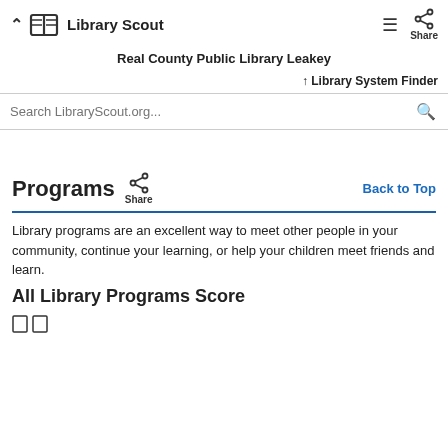Library Scout
Real County Public Library Leakey
↑ Library System Finder
Search LibraryScout.org...
Programs
Back to Top
Library programs are an excellent way to meet other people in your community, continue your learning, or help your children meet friends and learn.
All Library Programs Score